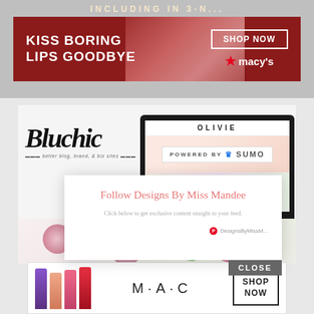[Figure (screenshot): Top banner ad for Macy's with text 'INCLUDING IN 3-n...' and 'KISS BORING LIPS GOODBYE' with woman's face showing red lips, and SHOP NOW button and Macy's star logo]
[Figure (screenshot): Bluchic logo in script font with tagline, and Olivie website shown on laptop mockup with 'POWERED BY SUMO' badge, and floral background photo with pink/purple flowers and green leaves]
[Figure (infographic): Popup overlay: 'Follow Designs By Miss Mandee' in pink/salmon, subtitle 'Click below to get exclusive content straight to your feed.', Pinterest icon with DesignsByMissM, and CLOSE button in gray]
[Figure (screenshot): Bottom banner ad for MAC cosmetics showing purple, peach, pink and red lipsticks, MAC logo, and SHOP NOW button]